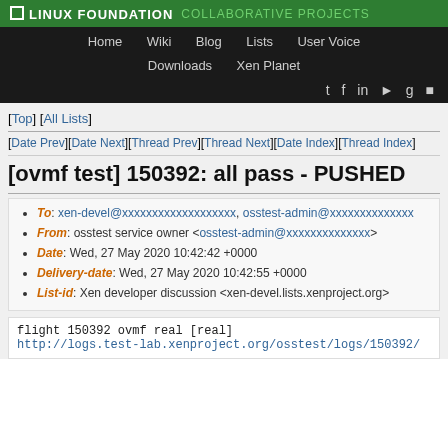LINUX FOUNDATION COLLABORATIVE PROJECTS
Home  Wiki  Blog  Lists  User Voice  Downloads  Xen Planet
[Top] [All Lists]
[Date Prev][Date Next][Thread Prev][Thread Next][Date Index][Thread Index]
[ovmf test] 150392: all pass - PUSHED
To: xen-devel@xxxxxxxxxxxxxxxxxxx, osstest-admin@xxxxxxxxxxxxxx
From: osstest service owner <osstest-admin@xxxxxxxxxxxxxx>
Date: Wed, 27 May 2020 10:42:42 +0000
Delivery-date: Wed, 27 May 2020 10:42:55 +0000
List-id: Xen developer discussion <xen-devel.lists.xenproject.org>
flight 150392 ovmf real [real]
http://logs.test-lab.xenproject.org/osstest/logs/150392/